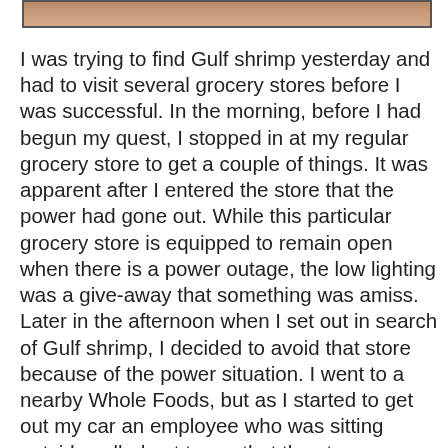[Figure (photo): Partial photo visible at the top of the page, showing warm brown tones, likely a food or nature image cropped at the top edge.]
I was trying to find Gulf shrimp yesterday and had to visit several grocery stores before I was successful. In the morning, before I had begun my quest, I stopped in at my regular grocery store to get a couple of things. It was apparent after I entered the store that the power had gone out. While this particular grocery store is equipped to remain open when there is a power outage, the low lighting was a give-away that something was amiss. Later in the afternoon when I set out in search of Gulf shrimp, I decided to avoid that store because of the power situation. I went to a nearby Whole Foods, but as I started to get out my car an employee who was sitting outside called out to me that the store was closed. They were not set up to continue operations without power and in fact had resorted to moving all the meat onto a refrigerated truck. I drove over to another Whole Foods store but they didn't have Gulf shrimp. Next stop was a gourmet store about fifteen miles from my house. I parked, and entered the store. That is, I entered through the first automatic door, but the next door did not open for me. Then I noticed it was dark inside. Would you believe the power had